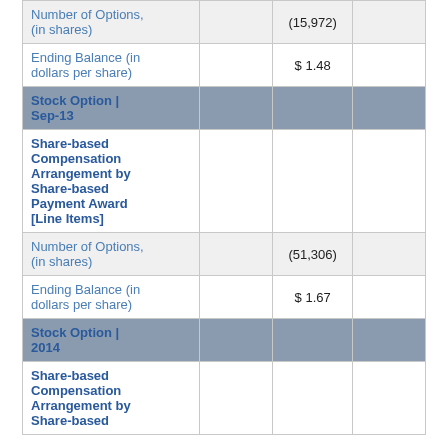|  |  |  |  |
| --- | --- | --- | --- |
| Number of Options, (in shares) |  | (15,972) |  |
| Ending Balance (in dollars per share) |  | $ 1.48 |  |
| Stock Option | Sep-13 |  |  |  |
| Share-based Compensation Arrangement by Share-based Payment Award [Line Items] |  |  |  |
| Number of Options, (in shares) |  | (51,306) |  |
| Ending Balance (in dollars per share) |  | $ 1.67 |  |
| Stock Option | 2014 |  |  |  |
| Share-based Compensation Arrangement by Share-based Payment Award [Line Items] |  |  |  |